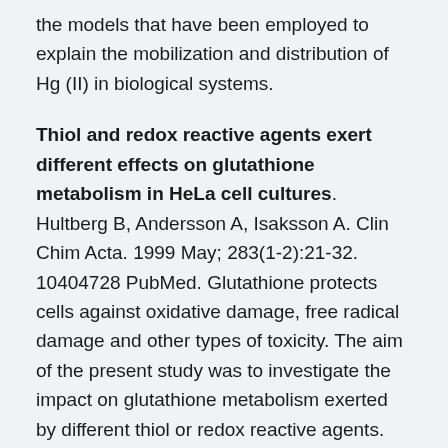the models that have been employed to explain the mobilization and distribution of Hg (II) in biological systems.
Thiol and redox reactive agents exert different effects on glutathione metabolism in HeLa cell cultures. Hultberg B, Andersson A, Isaksson A. Clin Chim Acta. 1999 May; 283(1-2):21-32. 10404728 PubMed. Glutathione protects cells against oxidative damage, free radical damage and other types of toxicity. The aim of the present study was to investigate the impact on glutathione metabolism exerted by different thiol or redox reactive agents. Intracellular concentrations of glutathione in HeLa cell cultures were lowered after addition of agents mainly exerting oxidative stress (homocysteine and hydrogen